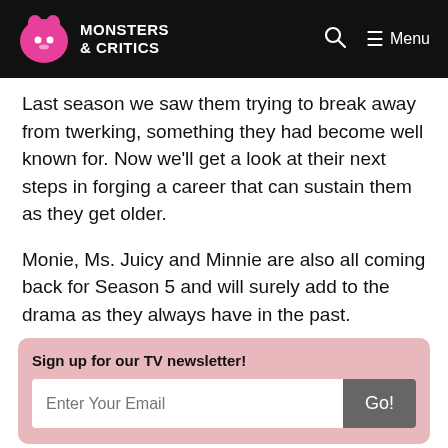Monsters & Critics
Last season we saw them trying to break away from twerking, something they had become well known for. Now we'll get a look at their next steps in forging a career that can sustain them as they get older.
Monie, Ms. Juicy and Minnie are also all coming back for Season 5 and will surely add to the drama as they always have in the past.
Sign up for our TV newsletter!